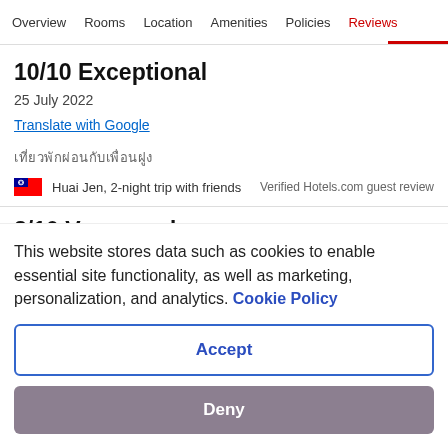Overview  Rooms  Location  Amenities  Policies  Reviews
10/10 Exceptional
25 July 2022
Translate with Google
เที่ยวพักผ่อนกับเพื่อนฝูง
Huai Jen, 2-night trip with friends
Verified Hotels.com guest review
8/10 Very good
This website stores data such as cookies to enable essential site functionality, as well as marketing, personalization, and analytics. Cookie Policy
Accept
Deny